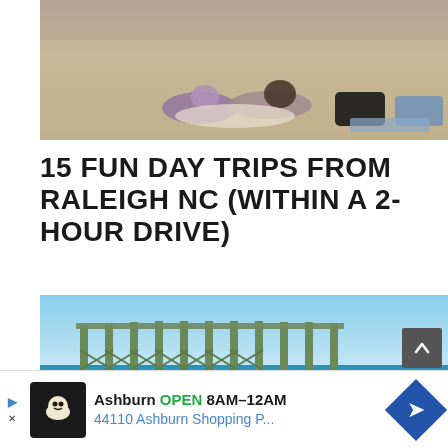[Figure (photo): Beach scene from above showing people lying on sandy beach with towels and bags]
15 FUN DAY TRIPS FROM RALEIGH NC (WITHIN A 2-HOUR DRIVE)
[Figure (photo): Beach pier extending into ocean with people on beach in foreground, clear blue sky]
Ashburn OPEN 8AM–12AM 44110 Ashburn Shopping P...